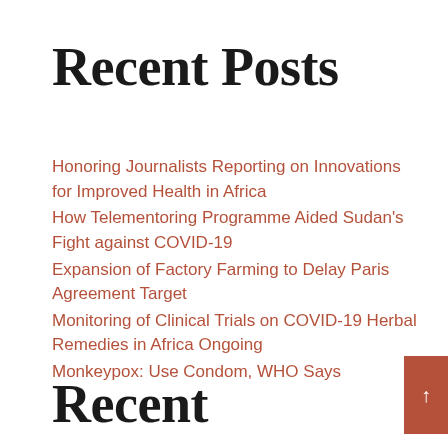Recent Posts
Honoring Journalists Reporting on Innovations for Improved Health in Africa
How Telementoring Programme Aided Sudan's Fight against COVID-19
Expansion of Factory Farming to Delay Paris Agreement Target
Monitoring of Clinical Trials on COVID-19 Herbal Remedies in Africa Ongoing
Monkeypox: Use Condom, WHO Says
Recent